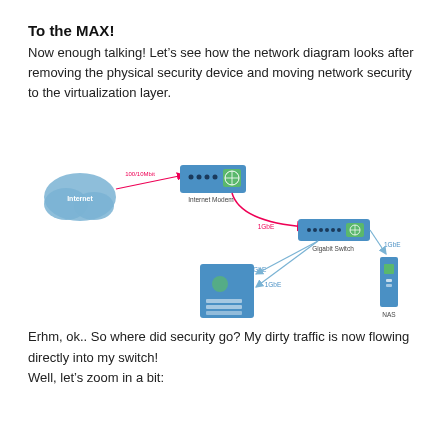To the MAX!
Now enough talking! Let’s see how the network diagram looks after removing the physical security device and moving network security to the virtualization layer.
[Figure (network-graph): Network diagram showing Internet cloud connected via 100/10Mbit to Internet Modem, then via 1GbE red arrow to Gigabit Switch, which connects via 1GbE to NAS device, and via 1GbE and 1GbE to GA-ESX server.]
Erhm, ok.. So where did security go? My dirty traffic is now flowing directly into my switch!
Well, let’s zoom in a bit: